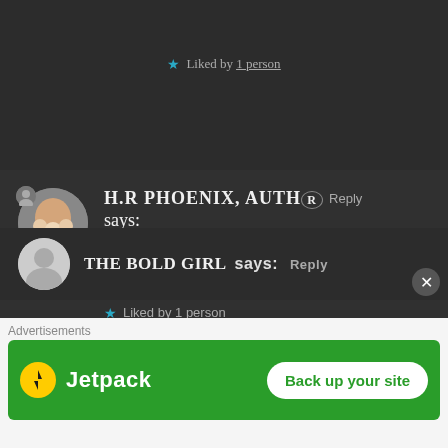★ Liked by 1 person
H.R PHOENIX, AUTHOR says: Jul 13, 2020 at 10:15 PM
No problem 💕
★ Liked by 1 person
THE BOLD GIRL says: Reply
Advertisements
[Figure (other): Jetpack advertisement banner with logo and 'Back up your site' button on green background]